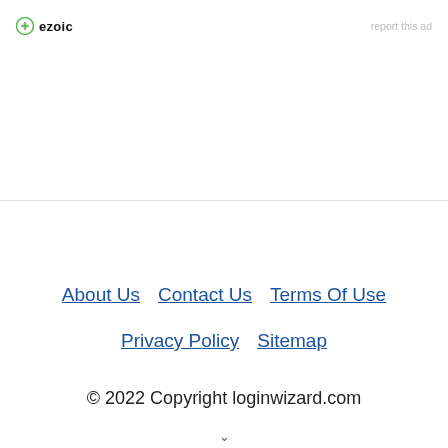[Figure (logo): Ezoic logo with green circular icon and bold text 'ezoic']
report this ad
About Us   Contact Us   Terms Of Use   Privacy Policy   Sitemap
© 2022 Copyright loginwizard.com